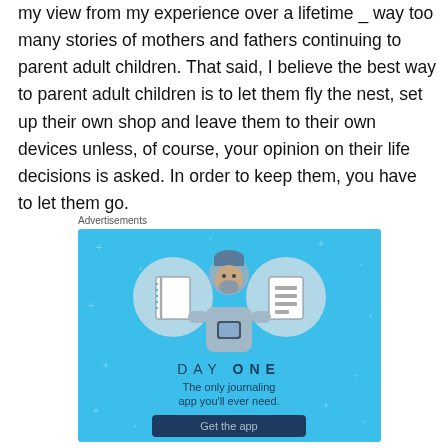my view from my experience over a lifetime _ way too many stories of mothers and fathers continuing to parent adult children. That said, I believe the best way to parent adult children is to let them fly the nest, set up their own shop and leave them to their own devices unless, of course, your opinion on their life decisions is asked. In order to keep them, you have to let them go.
Advertisements
[Figure (illustration): Day One journaling app advertisement. Blue background with sparkle stars. Center illustration shows a person holding a phone with two circular icons: a notebook on the left and a list/document on the right. Text reads 'DAY ONE' in spaced letters and 'The only journaling app you'll ever need.' with a dark 'Get the app' button.]